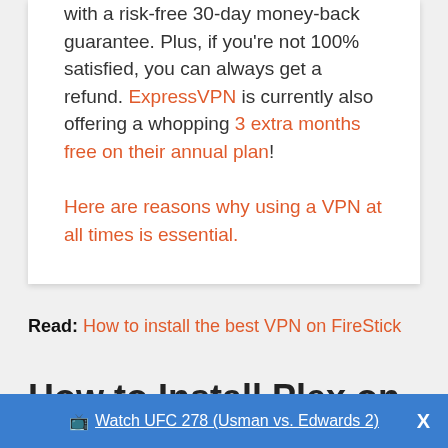with a risk-free 30-day money-back guarantee. Plus, if you're not 100% satisfied, you can always get a refund. ExpressVPN is currently also offering a whopping 3 extra months free on their annual plan!
Here are reasons why using a VPN at all times is essential.
Read: How to install the best VPN on FireStick
How to Install Plex on
📺 Watch UFC 278 (Usman vs. Edwards 2)   X